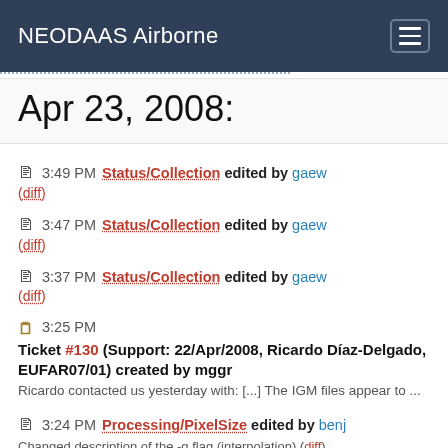NEODAAS Airborne
Apr 23, 2008:
3:49 PM Status/Collection edited by gaew (diff)
3:47 PM Status/Collection edited by gaew (diff)
3:37 PM Status/Collection edited by gaew (diff)
3:25 PM Ticket #130 (Support: 22/Apr/2008, Ricardo Díaz-Delgado, EUFAR07/01) created by mggr
Ricardo contacted us yesterday with: [...] The IGM files appear to ...
3:24 PM Processing/PixelSize edited by benj
Changed description of the -g flag (interpolation) (diff)